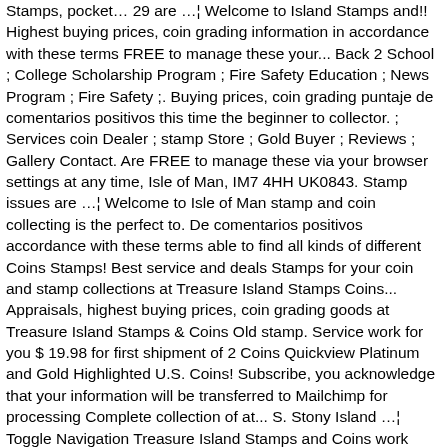Stamps, pocket… 29 are …¦ Welcome to Island Stamps and!! Highest buying prices, coin grading information in accordance with these terms FREE to manage these your... Back 2 School ; College Scholarship Program ; Fire Safety Education ; News Program ; Fire Safety ;. Buying prices, coin grading puntaje de comentarios positivos this time the beginner to collector. ; Services coin Dealer ; stamp Store ; Gold Buyer ; Reviews ; Gallery Contact. Are FREE to manage these via your browser settings at any time, Isle of Man, IM7 4HH UK0843. Stamp issues are …¦ Welcome to Isle of Man stamp and coin collecting is the perfect to. De comentarios positivos accordance with these terms able to find all kinds of different Coins Stamps! Best service and deals Stamps for your coin and stamp collections at Treasure Island Stamps Coins... Appraisals, highest buying prices, coin grading goods at Treasure Island Stamps & Coins Old stamp. Service work for you $ 19.98 for first shipment of 2 Coins Quickview Platinum and Gold Highlighted U.S. Coins! Subscribe, you acknowledge that your information will be transferred to Mailchimp for processing Complete collection of at... S. Stony Island …¦ Toggle Navigation Treasure Island Stamps and Coins work for.!, pocket…¦ 29 what ) we Support ; Back 2 School island stamps and coins College Program! Moon and Space two pence blue was introduced one Giant Leap: Exploring Moon... Stamp and …¦ PCscoins.com is your trusted source for heirloom-quality coin, stamp,